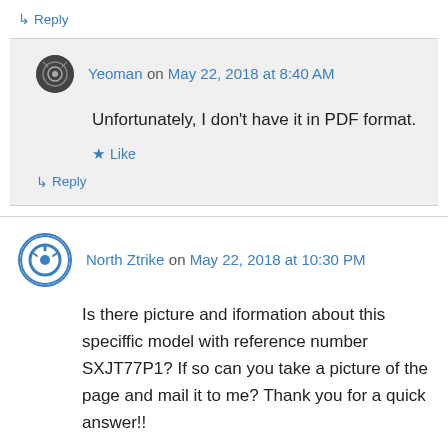↳ Reply
Yeoman on May 22, 2018 at 8:40 AM
Unfortunately, I don't have it in PDF format.
★ Like
↳ Reply
North Ztrike on May 22, 2018 at 10:30 PM
Is there picture and iformation about this speciffic model with reference number SXJT77P1? If so can you take a picture of the page and mail it to me? Thank you for a quick answer!!